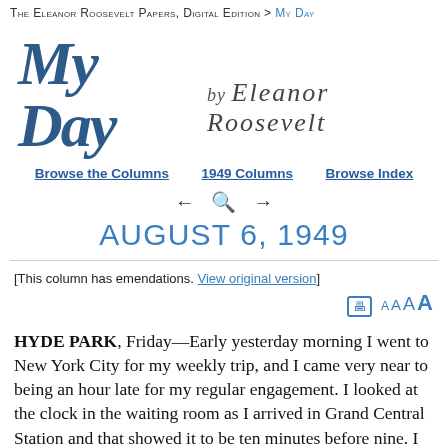The Eleanor Roosevelt Papers, Digital Edition > My Day
My Day by Eleanor Roosevelt
Browse the Columns   1949 Columns   Browse Index
← 🔍 →
AUGUST 6, 1949
[This column has emendations. View original version]
HYDE PARK, Friday—Early yesterday morning I went to New York City for my weekly trip, and I came very near to being an hour late for my regular engagement. I looked at the clock in the waiting room as I arrived in Grand Central Station and that showed it to be ten minutes before nine. I entirely forgot